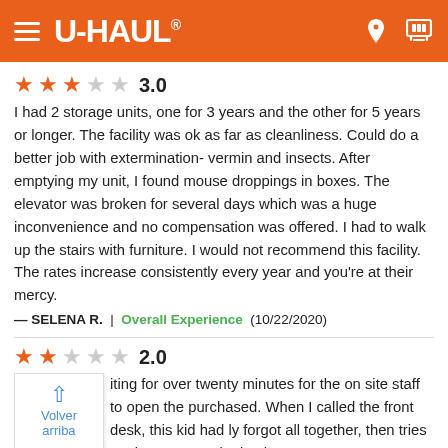U-HAUL
3.0
I had 2 storage units, one for 3 years and the other for 5 years or longer. The facility was ok as far as cleanliness. Could do a better job with extermination- vermin and insects. After emptying my unit, I found mouse droppings in boxes. The elevator was broken for several days which was a huge inconvenience and no compensation was offered. I had to walk up the stairs with furniture. I would not recommend this facility. The rates increase consistently every year and you're at their mercy.
— SELENA R.  |  Overall Experience  (10/22/2020)
2.0
...iting for over twenty minutes for the on site staff to open the purchased. When I called the front desk, this kid had ...ly forgot all together, then tries to give me an attitude about the fact that I was calling him out on his unprofessionalism.